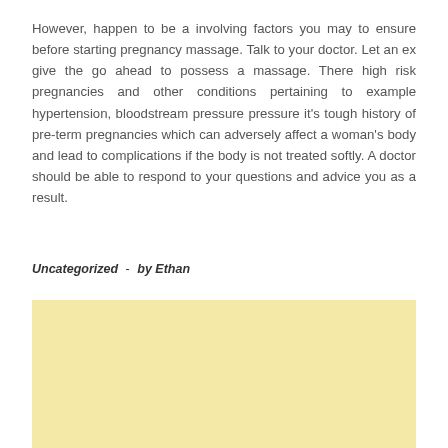However, happen to be a involving factors you may to ensure before starting pregnancy massage. Talk to your doctor. Let an ex give the go ahead to possess a massage. There high risk pregnancies and other conditions pertaining to example hypertension, bloodstream pressure pressure it's tough history of pre-term pregnancies which can adversely affect a woman's body and lead to complications if the body is not treated softly. A doctor should be able to respond to your questions and advice you as a result.
Uncategorized  -  by Ethan
[Figure (other): A blank light yellow/cream colored advertisement or placeholder box]